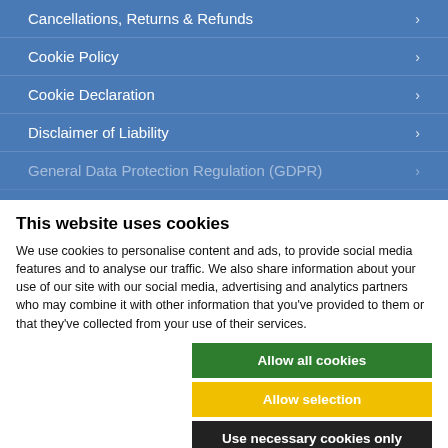Cancellations, Returns & Refunds
Cookie Policy
Cookie Declaration
Disclaimer of Liability
General Data Protection Regulation (GDPR)
This website uses cookies
We use cookies to personalise content and ads, to provide social media features and to analyse our traffic. We also share information about your use of our site with our social media, advertising and analytics partners who may combine it with other information that you've provided to them or that they've collected from your use of their services.
Allow all cookies
Allow selection
Use necessary cookies only
Necessary  Preferences  Statistics  Marketing  Show details